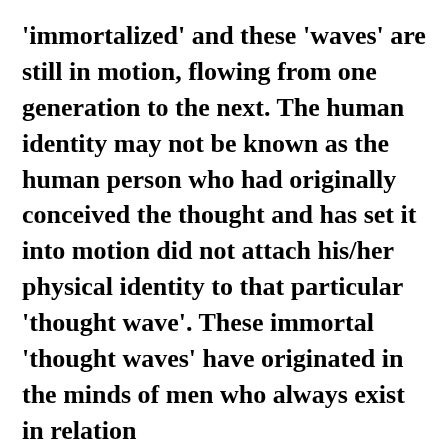'immortalized' and these 'waves' are still in motion, flowing from one generation to the next. The human identity may not be known as the human person who had originally conceived the thought and has set it into motion did not attach his/her physical identity to that particular 'thought wave'. These immortal 'thought waves' have originated in the minds of men who always exist in relation to their physical environment. An